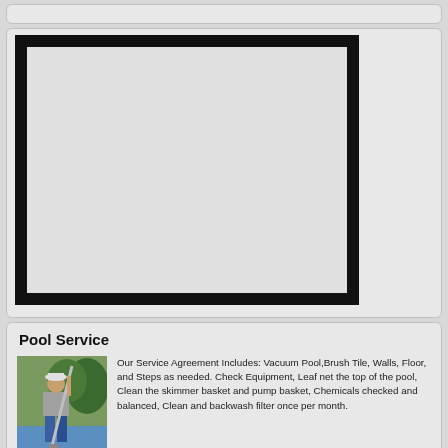[Figure (other): Empty top card strip]
[Figure (other): Large framed rectangle image placeholder with thick black border on grey background]
Pool Service
[Figure (photo): Photo of a man in a cap holding a pool cleaning pole next to a swimming pool]
Our Service Agreement Includes: Vacuum Pool,Brush Tile, Walls, Floor, and Steps as needed. Check Equipment, Leaf net the top of the pool, Clean the skimmer basket and pump basket, Chemicals checked and balanced, Clean and backwash filter once per month.